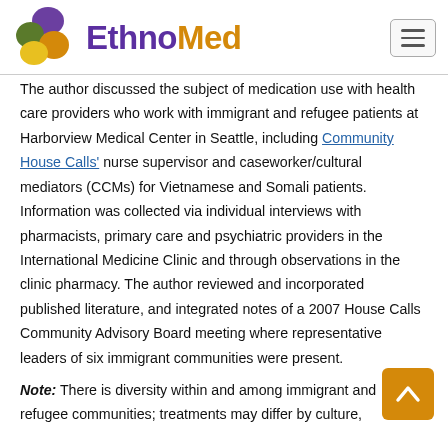EthnoMed
The author discussed the subject of medication use with health care providers who work with immigrant and refugee patients at Harborview Medical Center in Seattle, including Community House Calls' nurse supervisor and caseworker/cultural mediators (CCMs) for Vietnamese and Somali patients. Information was collected via individual interviews with pharmacists, primary care and psychiatric providers in the International Medicine Clinic and through observations in the clinic pharmacy. The author reviewed and incorporated published literature, and integrated notes of a 2007 House Calls Community Advisory Board meeting where representative leaders of six immigrant communities were present.
Note: There is diversity within and among immigrant and refugee communities; treatments may differ by culture,